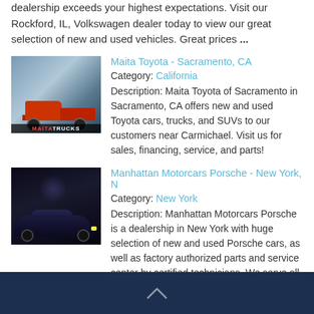dealership exceeds your highest expectations. Visit our Rockford, IL, Volkswagen dealer today to view our great selection of new and used vehicles. Great prices ...
[Figure (photo): Red pickup truck (Toyota Maita Trucks) in outdoor setting with MAITA TRUCKS label]
Maita Toyota - Sacramento, CA
Category: California
Description: Maita Toyota of Sacramento in Sacramento, CA offers new and used Toyota cars, trucks, and SUVs to our customers near Carmichael. Visit us for sales, financing, service, and parts!
[Figure (photo): Dark Porsche sports car in a dimly lit showroom or night scene]
Manhattan Motorcars Porsche - New York, N
Category: New York
Description: Manhattan Motorcars Porsche is a dealership in New York with huge selection of new and used Porsche cars, as well as factory authorized parts and service center by certified technicians. We serve all Tri-State areas. New Porsche NY Used Porsche NY Po ...
Show more...